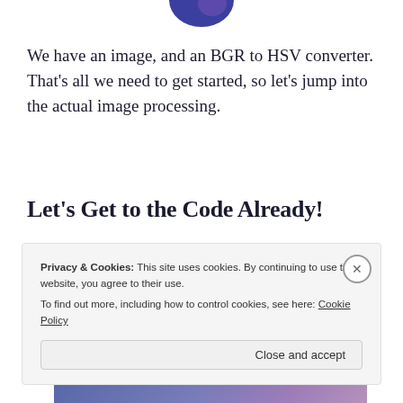[Figure (illustration): Partial view of a circular logo/icon in dark blue and purple at top center of page]
We have an image, and an BGR to HSV converter. That's all we need to get started, so let's jump into the actual image processing.
Let's Get to the Code Already!
[Figure (photo): A horizontal gradient image transitioning from blue on the left to purple/pink on the right, with a small brown/tan rectangular object (book or box) visible in the upper right portion of the image.]
Privacy & Cookies: This site uses cookies. By continuing to use this website, you agree to their use.
To find out more, including how to control cookies, see here: Cookie Policy